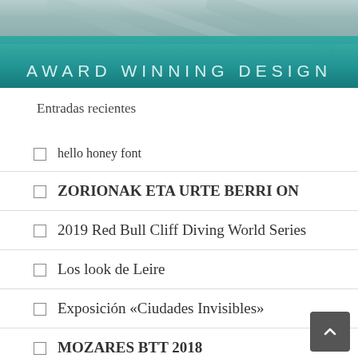[Figure (photo): Banner image with photo of water/pool at top and teal gradient overlay with text 'AWARD WINNING DESIGN']
Entradas recientes
hello honey font
ZORIONAK ETA URTE BERRI ON
2019 Red Bull Cliff Diving World Series
Los look de Leire
Exposición «Ciudades Invisibles»
MOZARES BTT 2018